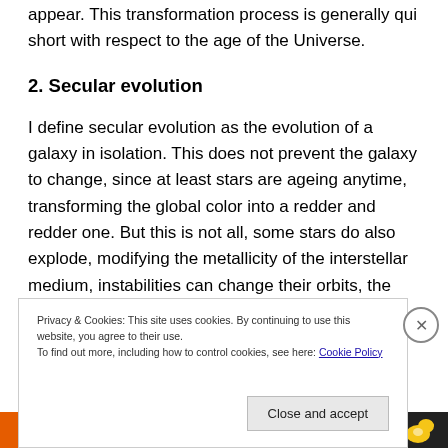appear. This transformation process is generally qui short with respect to the age of the Universe.
2. Secular evolution
I define secular evolution as the evolution of a galaxy in isolation. This does not prevent the galaxy to change, since at least stars are ageing anytime, transforming the global color into a redder and redder one. But this is not all, some stars do also explode, modifying the metallicity of the interstellar medium, instabilities can change their orbits, the gas may also be affected by shocks, and new
Privacy & Cookies: This site uses cookies. By continuing to use this website, you agree to their use.
To find out more, including how to control cookies, see here: Cookie Policy
Close and accept
[Figure (infographic): Orange and dark advertisement bar at bottom with text 'email with more privacy.' and a duck logo on the right]